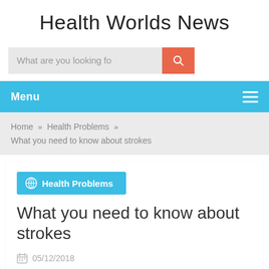Health Worlds News
[Figure (other): Search bar with text 'What are you looking fo' and an orange search button with magnifying glass icon]
Menu
Home » Health Problems » What you need to know about strokes
Health Problems
What you need to know about strokes
05/12/2018